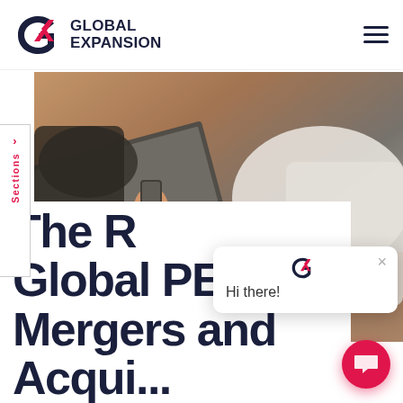GLOBAL EXPANSION
[Figure (photo): Two people working at a laptop and smartphone on a wooden table, hands visible, business setting]
[Figure (screenshot): Chat popup widget with GX logo, close button, and greeting text 'Hi there!']
The R Global PEO in Mergers and Acquisitions